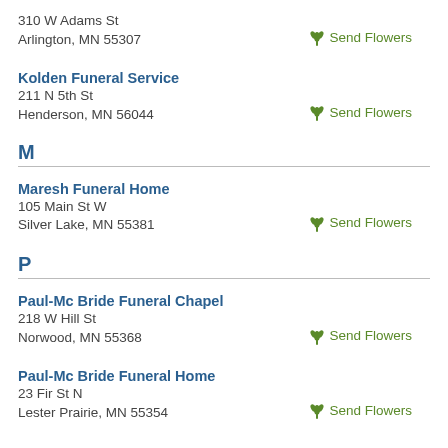310 W Adams St
Arlington, MN 55307
Send Flowers
Kolden Funeral Service
211 N 5th St
Henderson, MN 56044
Send Flowers
M
Maresh Funeral Home
105 Main St W
Silver Lake, MN 55381
Send Flowers
P
Paul-Mc Bride Funeral Chapel
218 W Hill St
Norwood, MN 55368
Send Flowers
Paul-Mc Bride Funeral Home
23 Fir St N
Lester Prairie, MN 55354
Send Flowers